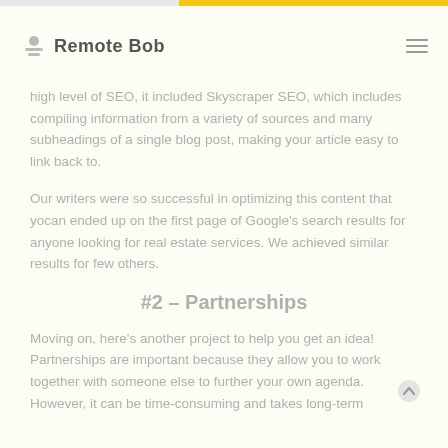Remote Bob
high level of SEO, it included Skyscraper SEO, which includes compiling information from a variety of sources and many subheadings of a single blog post, making your article easy to link back to.
Our writers were so successful in optimizing this content that yocan ended up on the first page of Google's search results for anyone looking for real estate services. We achieved similar results for few others.
#2 – Partnerships
Moving on, here's another project to help you get an idea! Partnerships are important because they allow you to work together with someone else to further your own agenda. However, it can be time-consuming and takes long-term